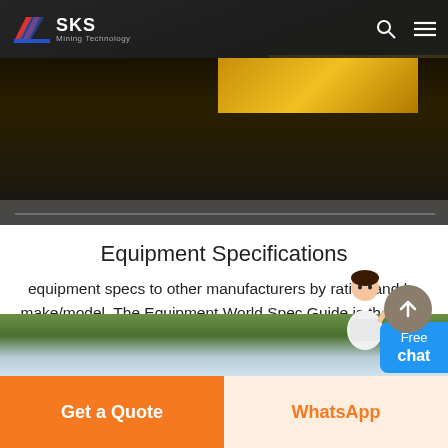[Figure (photo): Hero image of heavy construction/mining equipment (yellow and black machinery) in a workshop setting]
SKS Mining Technology
Equipment Specifications
equipment specs to other manufacturers by rating and by make/model. The Equipment World Spec Guide is the most trusted source of equipment specs for contractors, dealers, rental houses, auction companies and manufacturers of construction equipment. ... 30 US tons payload. 725. 30 to 35 US tons payload. 730. 730EJ. 35 to 40 US tons payload. 735.
[Figure (photo): Outdoor landscape photo with greenery and sky, partially visible at bottom of page]
Get a Quote
WhatsApp